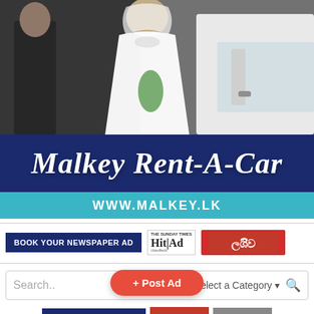[Figure (photo): Photo of a bride in white wedding dress holding green flowers, exiting a white car, with person in black suit beside her.]
Malkey Rent-A-Car
WWW.MALKEY.LK
BOOK YOUR NEWSPAPER AD
[Figure (logo): Hit Ad The Sunday Times classified ads logo]
[Figure (logo): Sinhala language newspaper logo with red background]
Search...   Select a Category
POST YOUR WEB AD
LOG-IN
MEMBER
+ Post Ad
0112 479 888 / 889  CORNER, COLOMBO 2. 'www.hitad.lk' Copy  a Newspapers Ltd.